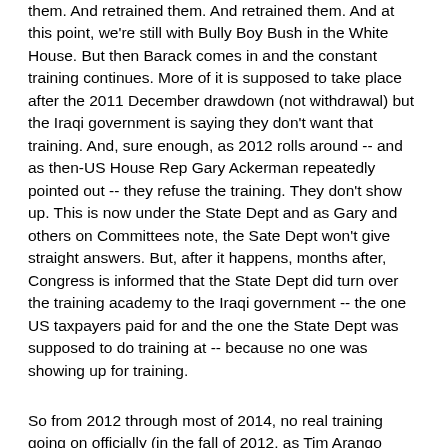them.  And retrained them.  And retrained them.  And at this point, we're still with Bully Boy Bush in the White House.  But then Barack comes in and the constant training continues.  More of it is supposed to take place after the 2011 December drawdown (not withdrawal) but the Iraqi government is saying they don't want that training.  And, sure enough, as 2012 rolls around -- and as then-US House Rep Gary Ackerman repeatedly pointed out -- they refuse the training.  They don't show up.  This is now under the State Dept and as Gary and others on Committees note, the Sate Dept won't give straight answers.  But, after it happens, months after, Congress is informed that the State Dept did turn over the training academy to the Iraqi government -- the one US taxpayers paid for and the one the State Dept was supposed to do training at -- because no one was showing up for training.
So from 2012 through most of 2014, no real training going on officially (in the fall of 2012, as Tim Arango reported for THE NEW YORK TIMES, Barack sent in